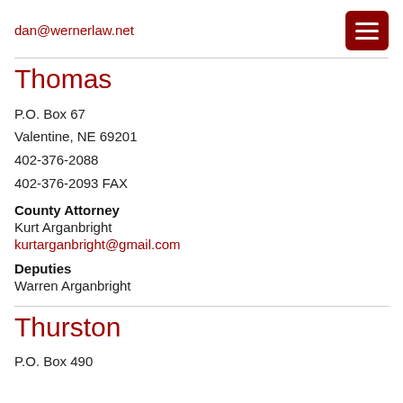dan@wernerlaw.net
Thomas
P.O. Box 67
Valentine, NE 69201
402-376-2088
402-376-2093 FAX
County Attorney
Kurt Arganbright
kurtarganbright@gmail.com
Deputies
Warren Arganbright
Thurston
P.O. Box 490